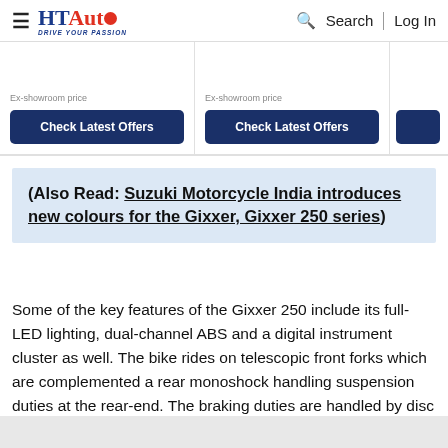HT Auto — Drive Your Passion | Search | Log In
Ex-showroom price | Check Latest Offers | Ex-showroom price | Check Latest Offers
(Also Read: Suzuki Motorcycle India introduces new colours for the Gixxer, Gixxer 250 series)
Some of the key features of the Gixxer 250 include its full-LED lighting, dual-channel ABS and a digital instrument cluster as well. The bike rides on telescopic front forks which are complemented a rear monoshock handling suspension duties at the rear-end. The braking duties are handled by disc brakes at both the ends. It also gets a dual-channel ABS.